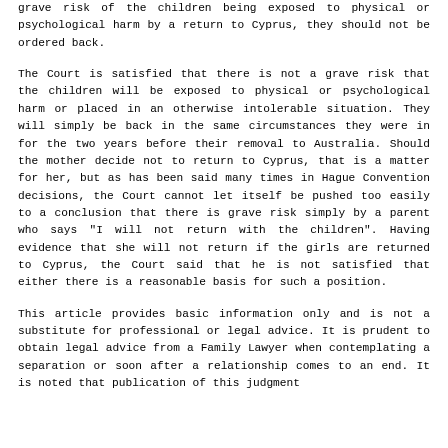grave risk of the children being exposed to physical or psychological harm by a return to Cyprus, they should not be ordered back.
The Court is satisfied that there is not a grave risk that the children will be exposed to physical or psychological harm or placed in an otherwise intolerable situation. They will simply be back in the same circumstances they were in for the two years before their removal to Australia. Should the mother decide not to return to Cyprus, that is a matter for her, but as has been said many times in Hague Convention decisions, the Court cannot let itself be pushed too easily to a conclusion that there is grave risk simply by a parent who says "I will not return with the children". Having evidence that she will not return if the girls are returned to Cyprus, the Court said that he is not satisfied that either there is a reasonable basis for such a position.
This article provides basic information only and is not a substitute for professional or legal advice. It is prudent to obtain legal advice from a Family Lawyer when contemplating a separation or soon after a relationship comes to an end. It is noted that publication of this judgment